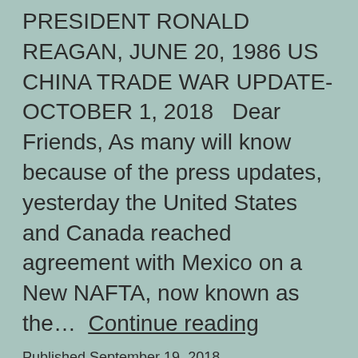PRESIDENT RONALD REAGAN, JUNE 20, 1986 US CHINA TRADE WAR UPDATE- OCTOBER 1, 2018   Dear Friends, As many will know because of the press updates, yesterday the United States and Canada reached agreement with Mexico on a New NAFTA, now known as the… Continue reading
Published September 19, 2018
Categorized as $200 Billion Tariffs, 301 China Intllectual Property, Agriculture, Aluminum antidumping, Aluminum Extrusions, antidumping duty, antidumping review investigation, Auto Parts, Automobile industry, Canada antidumping, China Cyber attacks, China retaliation, China Trade Policy, China Trade Politics, Chinese steel